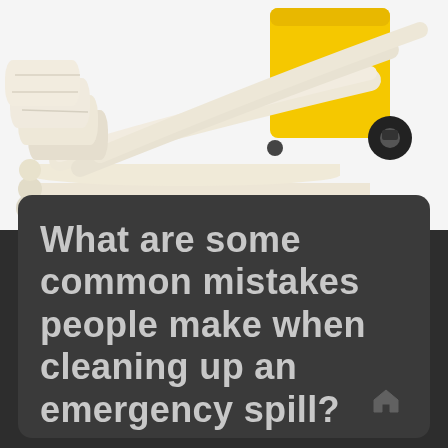[Figure (photo): Photo of spill response kit: white absorbent booms/socks spread out in foreground, yellow wheeled drum or container in background, on white background]
What are some common mistakes people make when cleaning up an emergency spill?